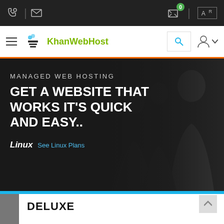[Figure (screenshot): Top navigation bar with phone icon, email icon, shopping cart with badge showing 0, and language selector on dark background]
[Figure (logo): KhanWebHost logo with icon and green text]
[Figure (photo): Hero banner with dark overlay showing business people silhouettes, text MANAGED WEB HOSTING, GET A WEBSITE THAT WORKS IT'S QUICK AND EASY.., Linux See Linux Plans]
MANAGED WEB HOSTING
GET A WEBSITE THAT WORKS IT'S QUICK AND EASY..
Linux See Linux Plans
DELUXE